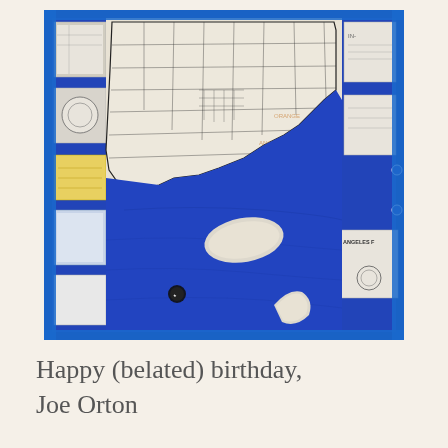[Figure (photo): Photograph of a large handmade quilt map displayed on a blue bulletin board. The quilt shows Los Angeles county map in the upper portion on cream/white fabric with black outline stitching of county boundaries and roads, and a deep blue ocean area (Pacific Ocean) in the lower portion with two Channel Islands shown in cream fabric. Various smaller maps and papers are pinned to the blue bulletin board around the quilt.]
Happy (belated) birthday, Joe Orton